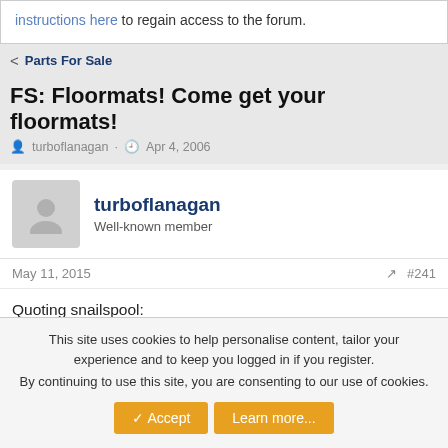instructions here to regain access to the forum.
< Parts For Sale
FS: Floormats! Come get your floormats!
turboflanagan · Apr 4, 2006
turboflanagan
Well-known member
May 11, 2015   #241
Quoting snailspool:
Turboflanagan, i have emailed you a few times, including at least once in April and received no response. Is your paypal addy a good address for correspondence as well? Ill try PMing you the email on here too.
This site uses cookies to help personalise content, tailor your experience and to keep you logged in if you register.
By continuing to use this site, you are consenting to our use of cookies.